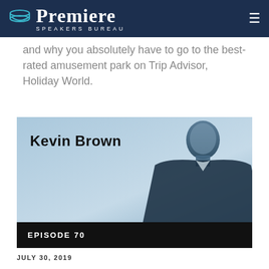Premiere Speakers Bureau
and why you absolutely have to go to the best-rated amusement park on Trip Advisor, Holiday World.
[Figure (photo): Kevin Brown speaker card with episode 70 label. Photo shows a man in dark blazer against light blue background. 'Kevin Brown' text in bold overlaid on left side. Black bar at bottom reads 'EPISODE 70'.]
JULY 30, 2019
Kevin Brown spent 20 years building a little-known family business into the number one